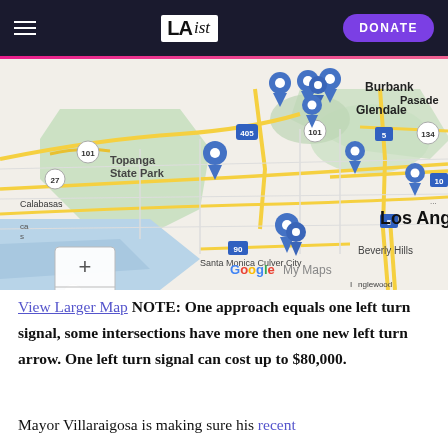LAist — DONATE
[Figure (map): Google My Maps showing the Los Angeles area with blue location pin markers indicating intersections with new left turn signals. Map shows areas including Calabasas, Topanga State Park, Beverly Hills, Santa Monica, Culver City, Glendale, Burbank, Pasadena, and Los Angeles. Several blue pins are clustered in the Hollywood/central LA area and one near Inglewood.]
View Larger Map NOTE: One approach equals one left turn signal, some intersections have more then one new left turn arrow. One left turn signal can cost up to $80,000.
Mayor Villaraigosa is making sure his recent